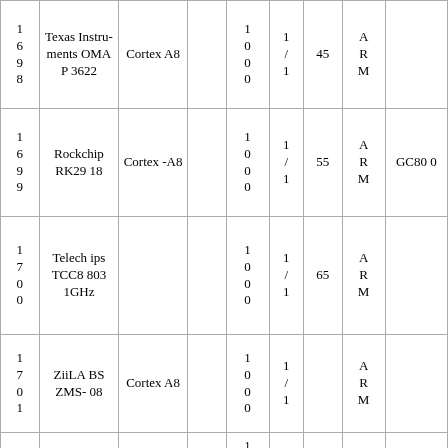| 1698 | Texas Instruments OMAP 3622 | Cortex A8 |  | 1000 | 1/1 | 45 | ARM |  |
| 1699 | Rockchip RK2918 | Cortex-A8 |  | 1000 | 1/1 | 55 | ARM | GC800 |
| 1700 | Telechips TCC8803 1GHz |  |  | 1000 | 1/1 | 65 | ARM |  |
| 1701 | ZiiLABS ZMS-08 | Cortex A8 |  | 1000 | 1/1 |  | ARM |  |
| ... | A8... | ARM |  | 100... | 1/... |  | R... |  |